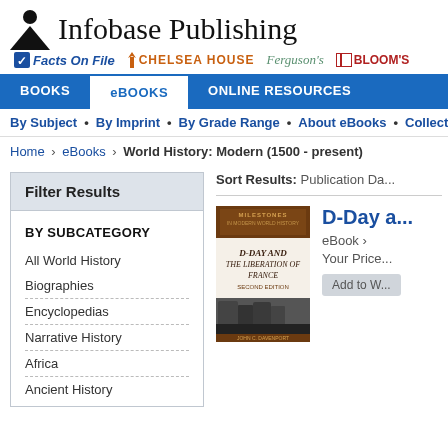[Figure (logo): Infobase Publishing logo with person icon and serif text]
[Figure (logo): Brand bar with Facts On File, Chelsea House, Ferguson's, Bloom's logos]
BOOKS | eBOOKS | ONLINE RESOURCES navigation tabs
By Subject • By Imprint • By Grade Range • About eBooks • Collections
Home › eBooks › World History: Modern (1500 - present)
Filter Results
BY SUBCATEGORY
All World History
Biographies
Encyclopedias
Narrative History
Africa
Ancient History
Sort Results: Publication Da...
[Figure (illustration): Book cover: D-Day and the Liberation of France, Milestones in Modern World History series]
D-Day a...
eBook ›
Your Price...
Add to W...